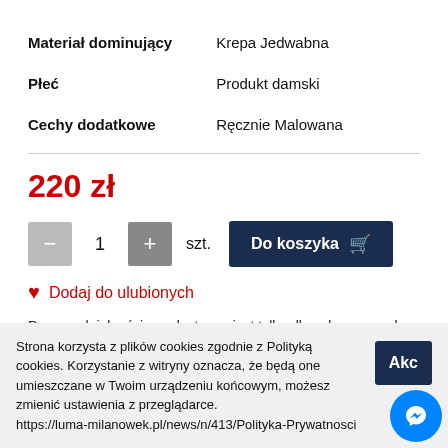| Materiał dominujący | Krepa Jedwabna |
| Płeć | Produkt damski |
| Cechy dodatkowe | Ręcznie Malowana |
220 zł
- 1 + szt. Do koszyka
Dodaj do ulubionych
Program lojalnościowy dostępny jest tylko dla zalogowanych
Strona korzysta z plików cookies zgodnie z Polityką cookies. Korzystanie z witryny oznacza, że będą one umieszczane w Twoim urządzeniu końcowym, możesz zmienić ustawienia z przeglądarce. https://luma-milanowek.pl/news/n/413/Polityka-Prywatnosci